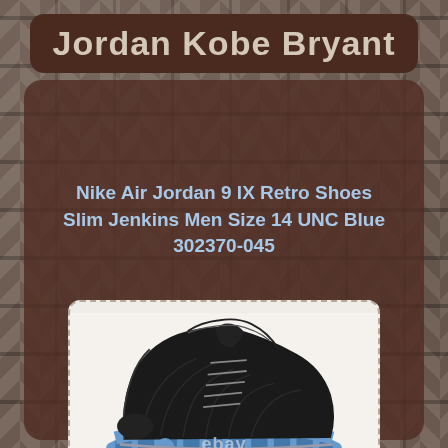Jordan Kobe Bryant
Nike Air Jordan 9 IX Retro Shoes Slim Jenkins Men Size 14 UNC Blue 302370-045
[Figure (photo): Nike Air Jordan 9 IX Retro Shoes in black upper with UNC blue sole, side profile view, with eBay watermark]
[Figure (photo): Nike Air Jordan 9 IX Retro Shoes, partially visible second photo showing black upper and blue sole from a different angle]